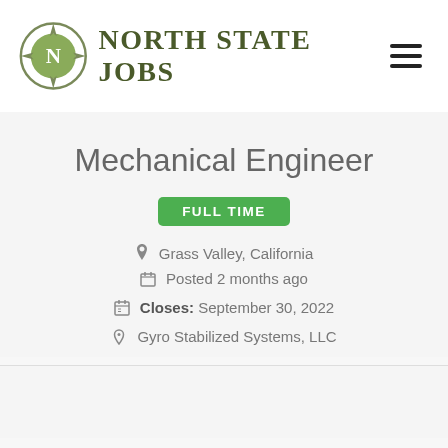North State Jobs
Mechanical Engineer
FULL TIME
Grass Valley, California
Posted 2 months ago
Closes: September 30, 2022
Gyro Stabilized Systems, LLC